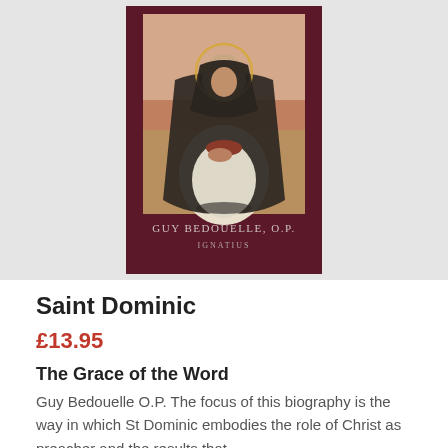[Figure (illustration): Book cover of 'Saint Dominic' by Guy Bedouelle O.P., published by Ignatius. Dark maroon/burgundy cover with a religious painting of a seated saint in white robes with a dark cloak, with a halo, in a kneeling/contemplative pose. Author name 'GUY BEDOUELLE, O.P.' and publisher 'IGNATIUS' printed at bottom of cover.]
Saint Dominic
£13.95
The Grace of the Word
Guy Bedouelle O.P. The focus of this biography is the way in which St Dominic embodies the role of Christ as preacher and the results that